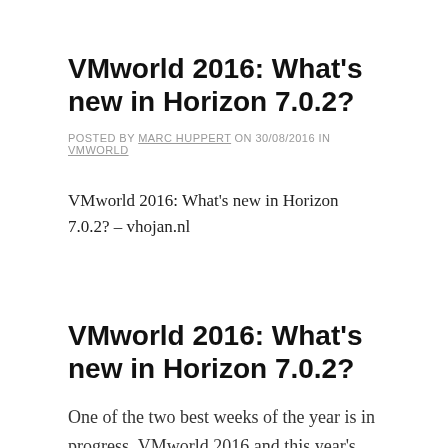VMworld 2016: What's new in Horizon 7.0.2?
POSTED BY MARC HUPPERT ON 30/08/2016 IN VMWORLD
VMworld 2016: What's new in Horizon 7.0.2? – vhojan.nl
VMworld 2016: What's new in Horizon 7.0.2?
One of the two best weeks of the year is in progress. VMworld 2016 and this year's US version is located in Las Vegas. traditionally, a lot of announcements were made around new features and new products. Let's find out what's new in Horizon 7.0.2. Blast Extreme Support for over 60 thin/zero clients by Dell, … Continue reading VMworld 2016: What's new in Horizon 7.0.2? … The post VMworld